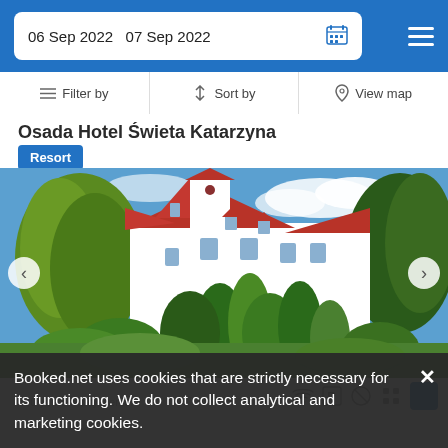06 Sep 2022   07 Sep 2022
Filter by   Sort by   View map
Osada Hotel Świeta Katarzyna
Resort
[Figure (photo): White manor house with red roof surrounded by lush green trees and garden landscape, blue sky background.]
700 yd from City Center
Booked.net uses cookies that are strictly necessary for its functioning. We do not collect analytical and marketing cookies.